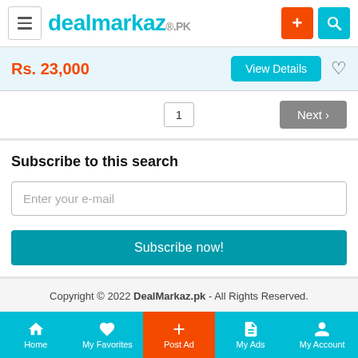dealmarkaz.pk
Rs. 23,000
View Details
1  Next >
Subscribe to this search
Enter your e-mail
Subscribe now!
Copyright © 2022 DealMarkaz.pk - All Rights Reserved.
Home  My Favorites  Post Ad  My Ads  My Account